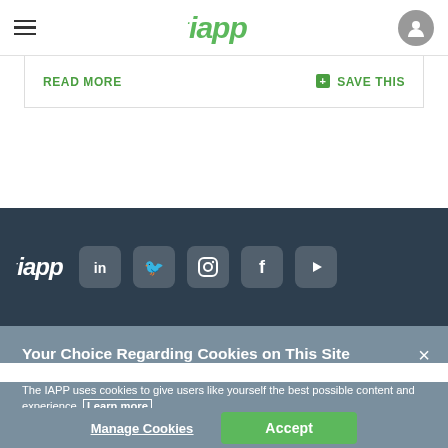iapp navigation bar with hamburger menu and user icon
READ MORE   + SAVE THIS
[Figure (screenshot): IAPP footer social bar with iapp logo and LinkedIn, Twitter, Instagram, Facebook, YouTube icons on dark background]
Your Choice Regarding Cookies on This Site
The IAPP uses cookies to give users like yourself the best possible content and experience. Learn more
Manage Cookies   Accept